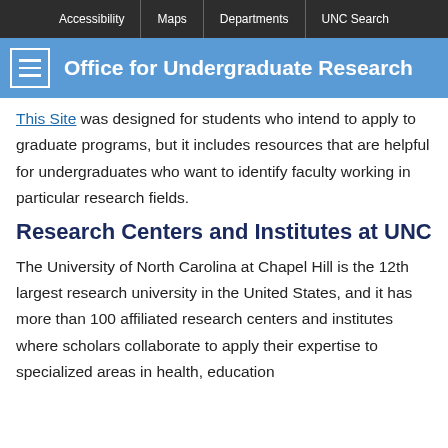Accessibility | Maps | Departments | UNC Search
Office for Undergraduate Research
This Site was designed for students who intend to apply to graduate programs, but it includes resources that are helpful for undergraduates who want to identify faculty working in particular research fields.
Research Centers and Institutes at UNC
The University of North Carolina at Chapel Hill is the 12th largest research university in the United States, and it has more than 100 affiliated research centers and institutes where scholars collaborate to apply their expertise to specialized areas in health, education